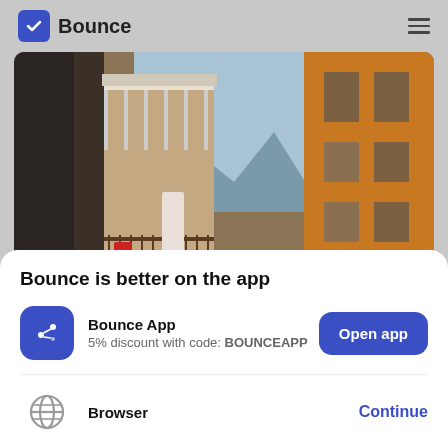Bounce
[Figure (photo): Street view between old Italian-style buildings with a narrow walkway, balconies, orange/terracotta facades, and a blue sky with mountains in the background.]
Bounce is better on the app
Bounce App
5% discount with code: BOUNCEAPP
Open app
Browser
Continue